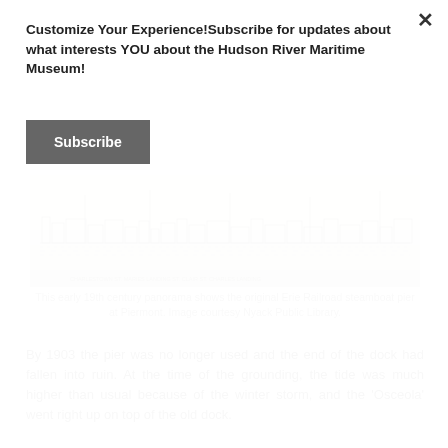Customize Your Experience!Subscribe for updates about what interests YOU about the Hudson River Maritime Museum!
Subscribe
[Figure (illustration): Early 19th century panorama sketch showing the original Erie Railroad steamboat pier at Piermont, a long horizontal panoramic drawing with buildings and dock structures along a waterfront.]
This early 19th century panorama shows the original Erie Railroad steamboat pier at Piermont. Image courtesy Nyack Public Library.
By 1903 the pier was no longer used and the end of the dock had fallen into ruin. At the time of the grounding, the tide was much higher than usual because of the winter storm, and the 'Osceola' went right up on top of the old dock.